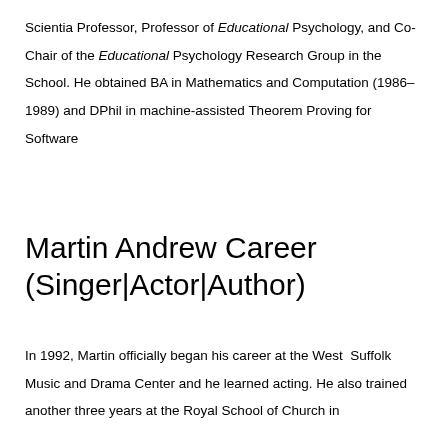Scientia Professor, Professor of Educational Psychology, and Co-Chair of the Educational Psychology Research Group in the School. He obtained BA in Mathematics and Computation (1986–1989) and DPhil in machine-assisted Theorem Proving for Software
Martin Andrew Career (Singer|Actor|Author)
In 1992, Martin officially began his career at the West Suffolk Music and Drama Center and he learned acting. He also trained another three years at the Royal School of Church in